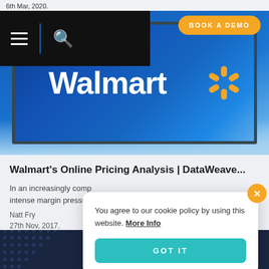6th Mar, 2020.
[Figure (screenshot): Walmart store sign on blue background — navigation bar with hamburger menu and search icon on left, 'BOOK A DEMO' orange button on top right]
Walmart's Online Pricing Analysis | DataWeave...
In an increasingly comp intense margin pressu.
Natt Fry
27th Nov, 2017.
You agree to our cookie policy by using this website. More Info
GOT IT
Would you like to switch to
United States
GO